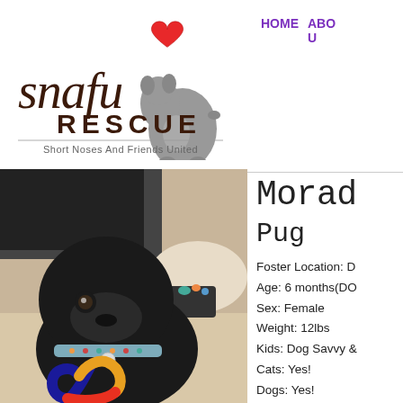[Figure (logo): Snafu Rescue logo with cursive 'snafu' text, 'RESCUE' in caps, tagline 'Short Noses And Friends United', a red heart, and a gray bulldog silhouette]
HOME   ABO U
[Figure (photo): Black pug puppy holding a colorful toy in its mouth, wearing a patterned collar, sitting indoors on a light-colored floor]
Morad
Pug
Foster Location: D
Age: 6 months(DO
Sex: Female
Weight: 12lbs
Kids: Dog Savvy &
Cats: Yes!
Dogs: Yes!